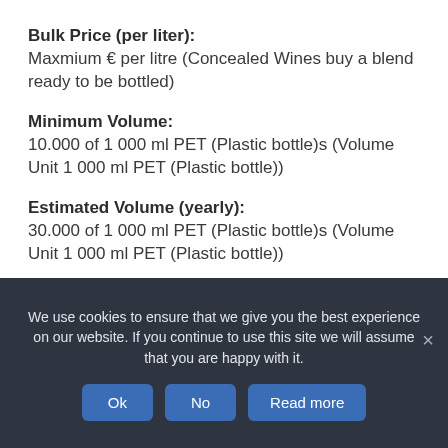Bulk Price (per liter):
Maxmium € per litre (Concealed Wines buy a blend ready to be bottled)
Minimum Volume:
10.000 of 1 000 ml PET (Plastic bottle)s (Volume Unit 1 000 ml PET (Plastic bottle))
Estimated Volume (yearly):
30.000 of 1 000 ml PET (Plastic bottle)s (Volume Unit 1 000 ml PET (Plastic bottle))
Type of Container:
PET (Plastic bottle)
We use cookies to ensure that we give you the best experience on our website. If you continue to use this site we will assume that you are happy with it.